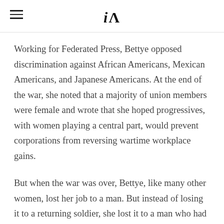iA (logo with hamburger menu)
Working for Federated Press, Bettye opposed discrimination against African Americans, Mexican Americans, and Japanese Americans. At the end of the war, she noted that a majority of union members were female and wrote that she hoped progressives, with women playing a central part, would prevent corporations from reversing wartime workplace gains.
But when the war was over, Bettye, like many other women, lost her job to a man. But instead of losing it to a returning soldier, she lost it to a man who had gone to prison rather than fight. Same story, slightly